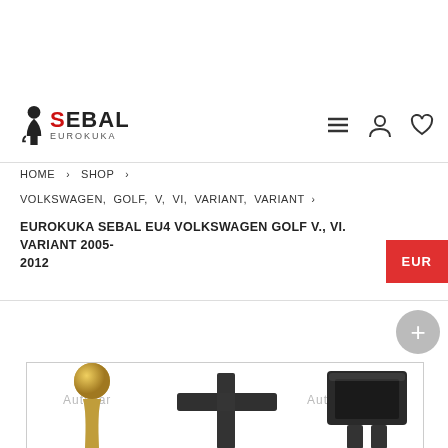[Figure (logo): Sebal Eurokuka logo with tow hook icon, bold SEBAL text in black/red and EUROKUKA subtitle]
[Figure (infographic): Navigation icons: hamburger menu, user account, heart/wishlist]
HOME > SHOP > VOLKSWAGEN, GOLF, V, VI, VARIANT, VARIANT >
EUROKUKA SEBAL EU4 VOLKSWAGEN GOLF V., VI. VARIANT 2005-2012
EUR
[Figure (photo): Product photo of tow bar/eurokuka hitch components showing gold ball head and black metal receiver brackets, with Autocar watermarks]